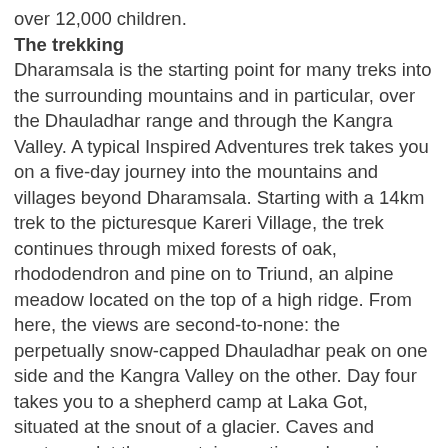over 12,000 children.
The trekking
Dharamsala is the starting point for many treks into the surrounding mountains and in particular, over the Dhauladhar range and through the Kangra Valley. A typical Inspired Adventures trek takes you on a five-day journey into the mountains and villages beyond Dharamsala. Starting with a 14km trek to the picturesque Kareri Village, the trek continues through mixed forests of oak, rhododendron and pine on to Triund, an alpine meadow located on the top of a high ridge. From here, the views are second-to-none: the perpetually snow-capped Dhauladhar peak on one side and the Kangra Valley on the other. Day four takes you to a shepherd camp at Laka Got, situated at the snout of a glacier. Caves and pastures dot the mountain creating a dynamic layered landscape unique to this area. The last day of the trek offers epic views of the valley below and the peaks above as you descend down a grassy ridge to the village